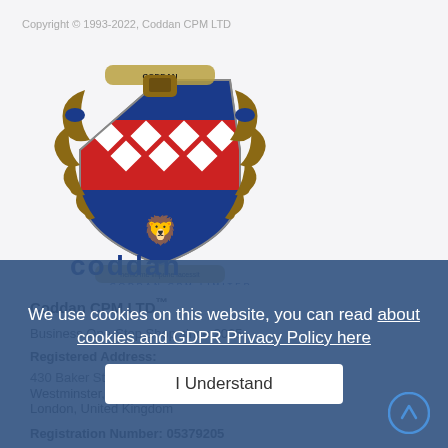Copyright © 1993-2022, Coddan CPM LTD
[Figure (logo): Coddan CPM Limited coat of arms heraldic logo with shield, crown, and supporters, plus stylized 'coddan' wordmark and 'CODDAN CPM LIMITED' text below]
Coddan CPM LTD™
Business One-Stop Shop since 2005
Registered Address:
430 Baker Street
Westminster, W1U 6TU
London, United Kingdom
Registration Number: 05379205
We use cookies on this website, you can read about cookies and GDPR Privacy Policy here
I Understand